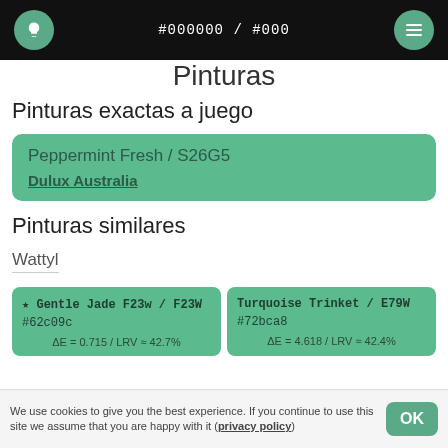#000000 / #000
Pinturas
Pinturas exactas a juego
Peppermint Fresh / S26G5
Dulux Australia
Pinturas similares
Wattyl
| Paint 1 | Paint 2 |
| --- | --- |
| ★ Gentle Jade F23w / F23W
#62c09c
ΔE = 0.715 / LRV ≈ 42.7% | Turquoise Trinket / E79W
#72bca8
ΔE = 4.618 / LRV ≈ 42.4% |
We use cookies to give you the best experience. If you continue to use this site we assume that you are happy with it (privacy policy)